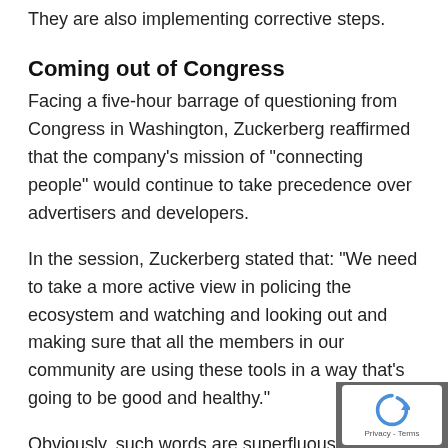They are also implementing corrective steps.
Coming out of Congress
Facing a five-hour barrage of questioning from Congress in Washington, Zuckerberg reaffirmed that the company’s mission of “connecting people” would continue to take precedence over advertisers and developers.
In the session, Zuckerberg stated that: “We need to take a more active view in policing the ecosystem and watching and looking out and making sure that all the members in our community are using these tools in a way that’s going to be good and healthy.”
Obviously, such words are superfluous without meaningful